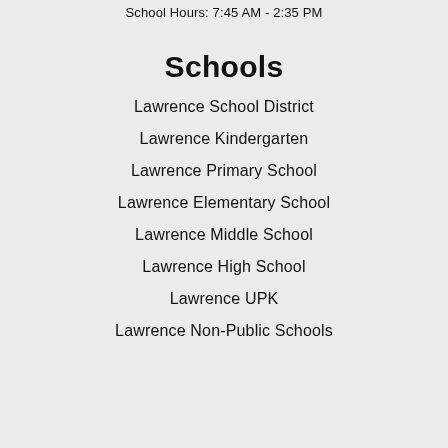School Hours: 7:45 AM - 2:35 PM
Schools
Lawrence School District
Lawrence Kindergarten
Lawrence Primary School
Lawrence Elementary School
Lawrence Middle School
Lawrence High School
Lawrence UPK
Lawrence Non-Public Schools